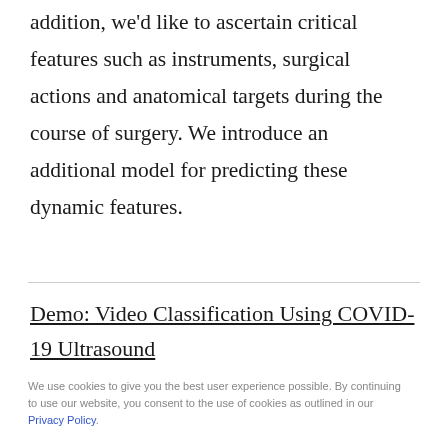addition, we'd like to ascertain critical features such as instruments, surgical actions and anatomical targets during the course of surgery. We introduce an additional model for predicting these dynamic features.
Demo: Video Classification Using COVID-19 Ultrasound
We use cookies to give you the best user experience possible. By continuing to use our website, you consent to the use of cookies as outlined in our Privacy Policy.